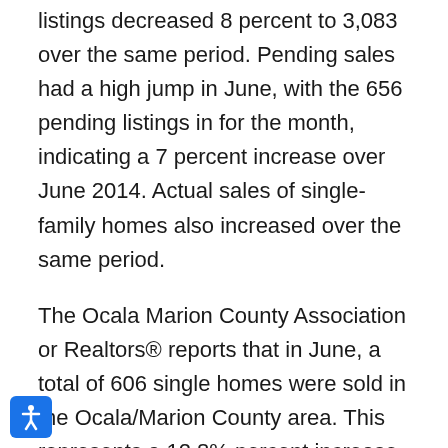listings decreased 8 percent to 3,083 over the same period. Pending sales had a high jump in June, with the 656 pending listings in for the month, indicating a 7 percent increase over June 2014. Actual sales of single-family homes also increased over the same period.
The Ocala Marion County Association or Realtors® reports that in June, a total of 606 single homes were sold in the Ocala/Marion County area. This represents a 12.8% percent increase over sales in previous year. Prices in the Ocala/Marion County real estate market continue to climb during that year-long period. The median price of a single-family home in the Ocala/Marion County area increased